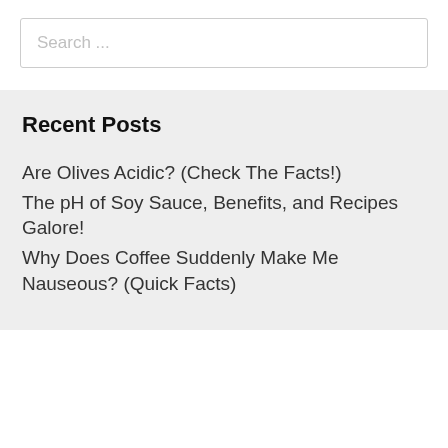[Figure (other): Search input box with placeholder text 'Search ...']
Recent Posts
Are Olives Acidic? (Check The Facts!)
The pH of Soy Sauce, Benefits, and Recipes Galore!
Why Does Coffee Suddenly Make Me Nauseous? (Quick Facts)